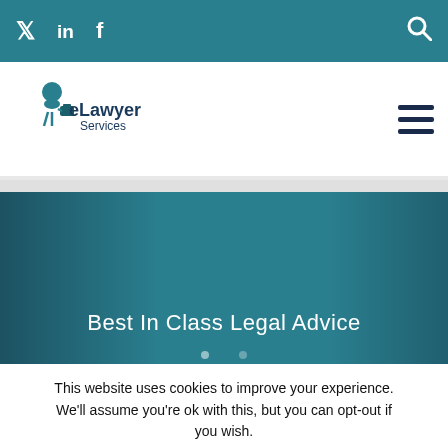Social icons: Twitter, LinkedIn, Facebook; Search icon
[Figure (logo): eLawyer Services logo with cartoon character holding briefcase]
[Figure (photo): Hero banner with teal overlay background showing 'Best In Class Legal Advice']
This website uses cookies to improve your experience. We'll assume you're ok with this, but you can opt-out if you wish. Cookie settings ACCEPT